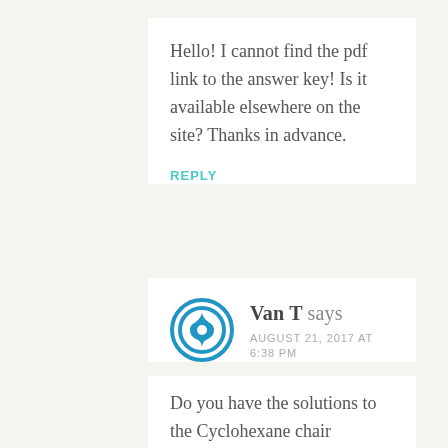Hello! I cannot find the pdf link to the answer key! Is it available elsewhere on the site? Thanks in advance.
REPLY
Van T says AUGUST 21, 2017 AT 6:38 PM
Do you have the solutions to the Cyclohexane chair conformation Practice